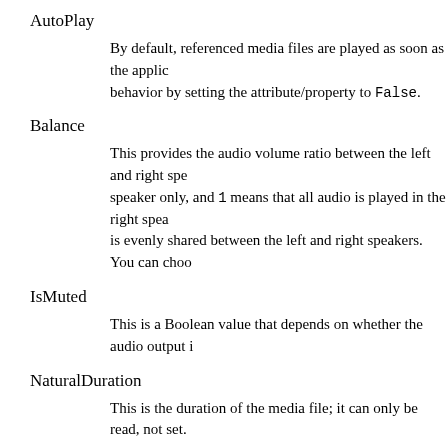AutoPlay
By default, referenced media files are played as soon as the applic… behavior by setting the attribute/property to False.
Balance
This provides the audio volume ratio between the left and right spe… speaker only, and 1 means that all audio is played in the right spea… is evenly shared between the left and right speakers. You can choo…
IsMuted
This is a Boolean value that depends on whether the audio output i…
NaturalDuration
This is the duration of the media file; it can only be read, not set.
NaturalVideoHeight
This is the height of the video. It is 0 for audio files, and it can only …
NaturalVideoWidth
This is the width of the video. It is 0 for audio files, and it can only b…
Stretch
This stretches the media if the display area is greater than the vide…